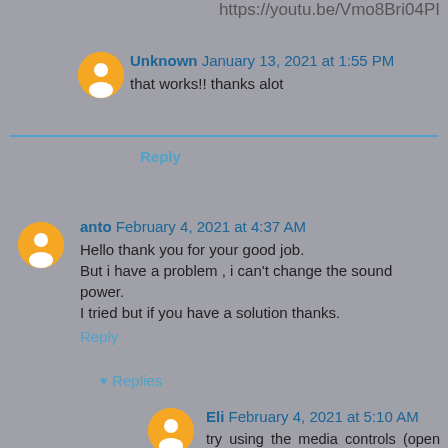https://youtu.be/Vmo8Bri04PI
Unknown January 13, 2021 at 1:55 PM
that works!! thanks alot
Reply
anto February 4, 2021 at 4:37 AM
Hello thank you for your good job.
But i have a problem , i can't change the sound power.
I tried but if you have a solution thanks.
Reply
Replies
Eli February 4, 2021 at 5:10 AM
try using the media controls (open fit, start an activity, swipe left and click on the music button, this will open the media controls, you will be able...